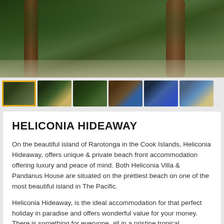[Figure (photo): Main hero photo of Heliconia Hideaway showing tropical palm trees and foliage with sandy ground]
[Figure (photo): Thumbnail strip showing 6 property photos: exterior with palms (selected/highlighted), interior with pool, garden path, outdoor dining area, blue bedroom interior, beachfront view]
HELICONIA HIDEAWAY
On the beautiful island of Rarotonga in the Cook Islands, Heliconia Hideaway, offers unique & private beach front accommodation offering luxury and peace of mind. Both Heliconia Villa & Pandanus House are situated on the prettiest beach on one of the most beautiful island in The Pacific.
Heliconia Hideaway, is the ideal accommodation for that perfect holiday in paradise and offers wonderful value for your money. There is something for everyone, all in a pristine tropical environment on the water's edge of Rarotonga.
Each accommodation option is a private enclave positioned on our pearl white beach and surrounded by breathtaking tropical foliage and its own private access.